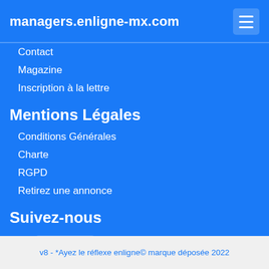managers.enligne-mx.com
Contact
Magazine
Inscription à la lettre
Mentions Légales
Conditions Générales
Charte
RGPD
Retirez une annonce
Suivez-nous
[Figure (other): Facebook like and share buttons, Twitter tweet button]
19 Visiteurs connectés
v8 - *Ayez le réflexe enligne© marque déposée 2022